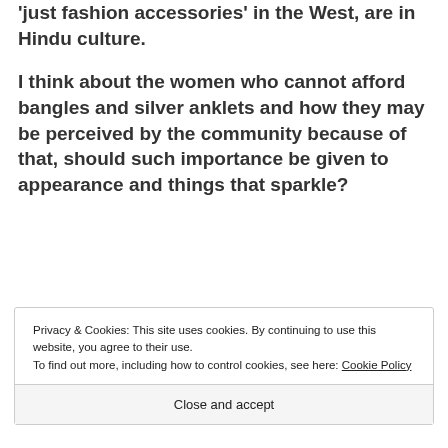'just fashion accessories' in the West, are in Hindu culture.
I think about the women who cannot afford bangles and silver anklets and how they may be perceived by the community because of that, should such importance be given to appearance and things that sparkle?
Privacy & Cookies: This site uses cookies. By continuing to use this website, you agree to their use.
To find out more, including how to control cookies, see here: Cookie Policy
Close and accept